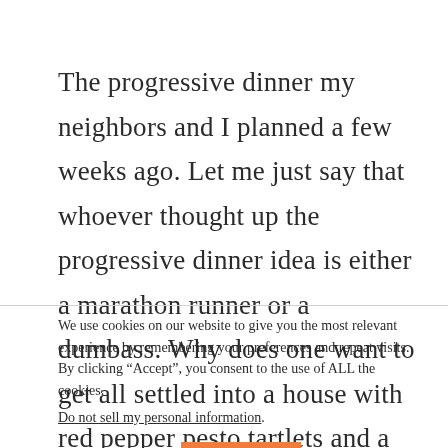The progressive dinner my neighbors and I planned a few weeks ago. Let me just say that whoever thought up the progressive dinner idea is either a marathon runner or a dumbass. Why does one want to get all settled into a house with red pepper pesto tartlets and a nice
We use cookies on our website to give you the most relevant experience by remembering your preferences and repeat visits. By clicking “Accept”, you consent to the use of ALL the cookies.
Do not sell my personal information.
Cookie settings  ACCEPT